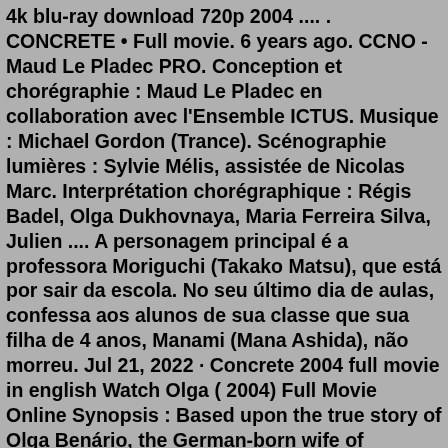4k blu-ray download 720p 2004 .... . CONCRETE • Full movie. 6 years ago. CCNO - Maud Le Pladec PRO. Conception et chorégraphie : Maud Le Pladec en collaboration avec l'Ensemble ICTUS. Musique : Michael Gordon (Trance). Scénographie lumières : Sylvie Mélis, assistée de Nicolas Marc. Interprétation chorégraphique : Régis Badel, Olga Dukhovnaya, Maria Ferreira Silva, Julien .... A personagem principal é a professora Moriguchi (Takako Matsu), que está por sair da escola. No seu último dia de aulas, confessa aos alunos de sua classe que sua filha de 4 anos, Manami (Mana Ashida), não morreu. Jul 21, 2022 · Concrete 2004 full movie in english Watch Olga ( 2004) Full Movie Online Synopsis : Based upon the true story of Olga Benário, the German-born wife of Brazilian communist leader Luís Carlos Prestes. During the dictatorship of Getúlio Vargas (1930-1945) she was arrested and sent to Nazi Germany, where she was put to death in a concentration camp.. Concrete Theatre Showtimes on IMDb: Get local movie times. Menu Movies Release Calendar DVD &